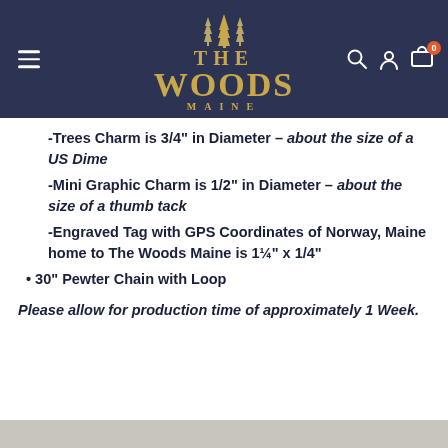[Figure (logo): The Woods Maine logo with pine trees icon and golden text on dark navy header, plus hamburger menu, search, account, and cart icons]
-Trees Charm is 3/4" in Diameter – about the size of a US Dime
-Mini Graphic Charm is 1/2" in Diameter – about the size of a thumb tack
-Engraved Tag with GPS Coordinates of Norway, Maine home to The Woods Maine is 1¼" x 1/4"
• 30" Pewter Chain with Loop
Please allow for production time of approximately 1 Week.